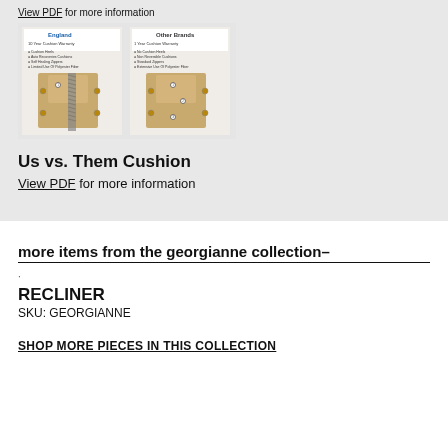View PDF for more information
[Figure (photo): Comparison image showing England brand cushion vs Other Brands cushion, with labeled features including cushion warranty, auto-recoverable cushions, self-healing zippers, and polyester fiber details.]
Us vs. Them Cushion
View PDF for more information
more items from the georgianne collection–
·
RECLINER
SKU: GEORGIANNE
SHOP MORE PIECES IN THIS COLLECTION